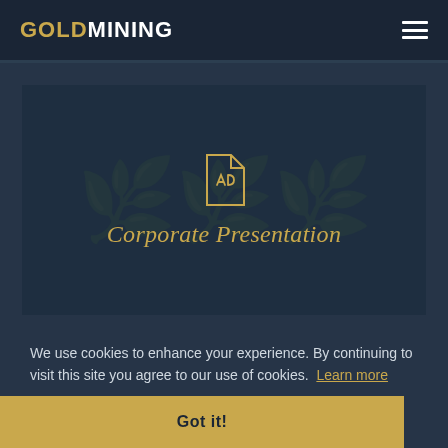GOLDMINING
[Figure (screenshot): GoldMining Corporate Presentation card with PDF icon and title text on dark navy background with subtle leaf/branch texture]
Corporate Presentation
We use cookies to enhance your experience. By continuing to visit this site you agree to our use of cookies. Learn more
Got it!